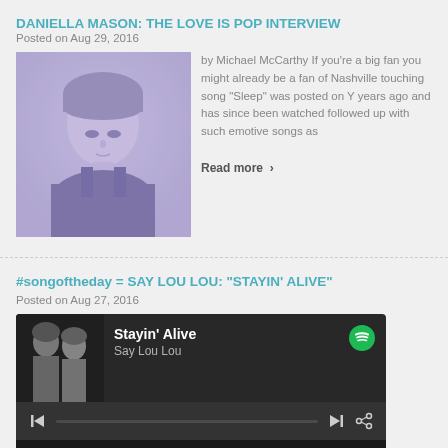DANIELLA MASON: THE LOVE IS POP INTERVIEW
Posted on Aug 29, 2016
[Figure (photo): Photo of Daniella Mason, a woman with blonde bangs looking down, purple/lavender toned portrait]
by Michael McCarthy If you're a big fan you might already be a fan of Nashville touching song "Sleep" was posted on Y years ago and has since been watched followed up with such emotive songs as
Read more ›
#songoftheday = SAY LOU LOU: "STAYIN' ALIVE"
Posted on Aug 27, 2016
[Figure (screenshot): Spotify player widget showing 'Stayin' Alive' by Say Lou Lou with album art, play controls, and track listing showing 3:36 duration]